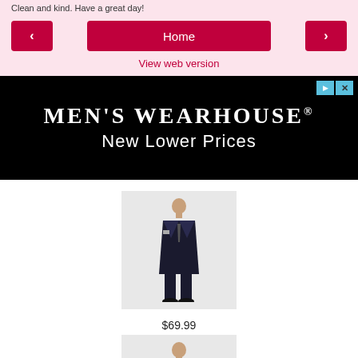Clean and kind. Have a great day!
Home | View web version
[Figure (other): Men's Wearhouse advertisement banner with black background showing brand name and 'New Lower Prices' tagline]
[Figure (photo): Man in dark suit, product photo]
$69.99
[Figure (photo): Man in black tuxedo with bow tie, product photo]
$229.99
[Figure (photo): Man in dark evening suit, product photo (partially visible)]